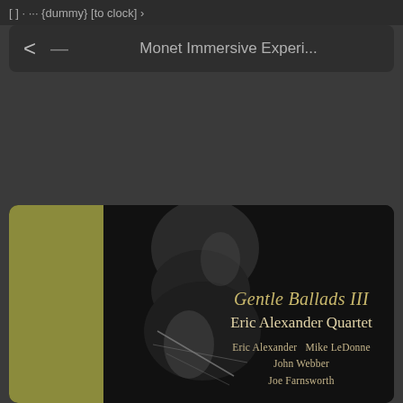[Figure (screenshot): Mobile app top navigation bar showing back arrow and dash icon on dark background]
Monet Immersive Experi...
[Figure (photo): Album cover for 'Gentle Ballads III' by Eric Alexander Quartet. Dark black-and-white photograph of a figure, with gold/olive stripe on left side. Text reads: Gentle Ballads III, Eric Alexander Quartet, Eric Alexander  Mike LeDonne, John Webber, Joe Farnsworth]